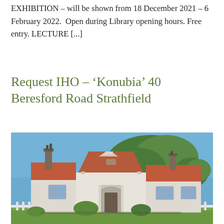EXHIBITION – will be shown from 18 December 2021 – 6 February 2022.  Open during Library opening hours. Free entry. LECTURE [...]
Request IHO – ‘Konubia’ 40 Beresford Road Strathfield
[Figure (photo): Photograph of a historic Federation-style house at 40 Beresford Road Strathfield, showing a white rendered facade with decorative gables, terracotta roof tiles, chimneys with ornamental pots, an arched entry porch, and a white picket fence in the foreground, with tall gum trees visible against a blue sky in the background.]